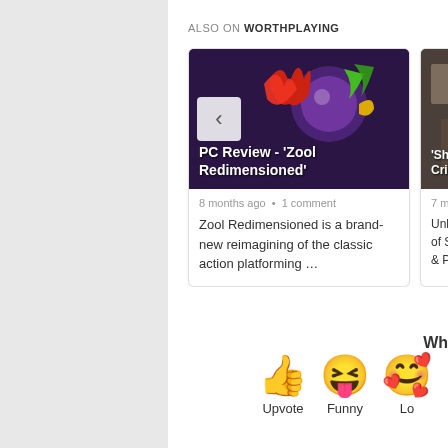ALSO ON WORTHPLAYING
[Figure (screenshot): Article card for 'PC Review - Zool Redimensioned' with game art showing colorful characters on dark background. Shows '8 months ago • 1 comment' and excerpt text.]
8 months ago • 1 comment
Zool Redimensioned is a brand-new reimagining of the classic action platforming …
[Figure (screenshot): Partially visible second article card for 'Sherlock Holmes Crime...' with photo background. Shows '7 months' and partial text.]
7 months
Unlike t of Sherl & Punis
Wh
[Figure (infographic): Reaction emoji row showing thumbs up (Upvote), laughing face (Funny), and heart eyes face (Lo...)]